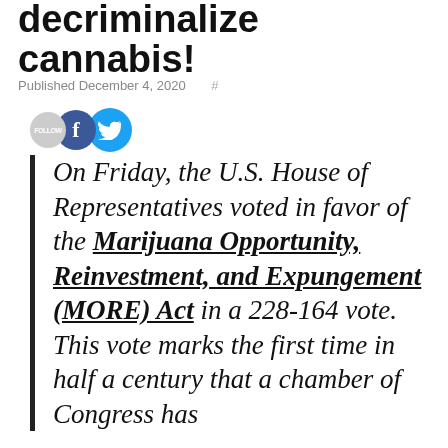decriminalize cannabis!
Published December 4, 2020  #
[Figure (illustration): Social media follow/share icons: grey Follow circle, Facebook blue circle with f, Twitter blue circle with bird icon]
On Friday, the U.S. House of Representatives voted in favor of the Marijuana Opportunity, Reinvestment, and Expungement (MORE) Act in a 228-164 vote. This vote marks the first time in half a century that a chamber of Congress has